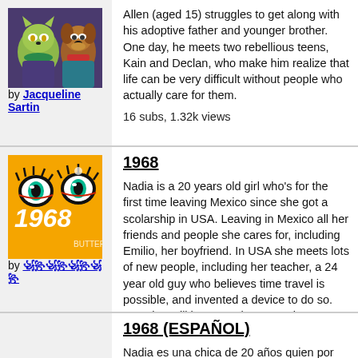[Figure (illustration): Cartoon furry characters - a green cat and brown dog character]
by Jacqueline Sartin
Allen (aged 15) struggles to get along with his adoptive father and younger brother. One day, he meets two rebellious teens, Kain and Declan, who make him realize that life can be very difficult without people who actually care for them.
16 subs, 1.32k views
1968
[Figure (illustration): Orange background with decorative eyes and stylized text '1968' in white]
by ꧁꧂꧁꧂꧁꧂꧁꧂
Nadia is a 20 years old girl who's for the first time leaving Mexico since she got a scolarship in USA. Leaving in Mexico all her friends and people she cares for, including Emilio, her boyfriend. In USA she meets lots of new people, including her teacher, a 24 year old guy who believes time travel is possible, and invented a device to do so. But what will happen when a tragic event happens in Mexico, and now she's willing to try time traveling!
60 subs, 1.83k views
1968 (ESPAÑOL)
Nadia es una chica de 20 años quien por primer...